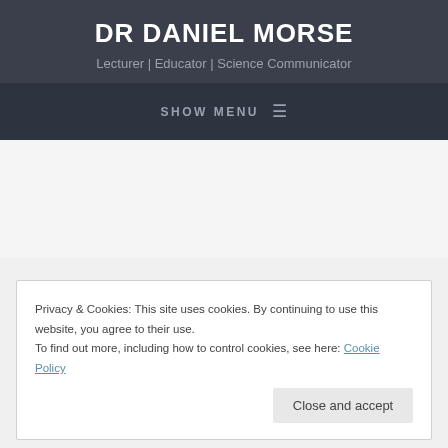DR DANIEL MORSE
Lecturer | Educator | Science Communicator
SHOW MENU ☰
Privacy & Cookies: This site uses cookies. By continuing to use this website, you agree to their use.
To find out more, including how to control cookies, see here: Cookie Policy
Close and accept